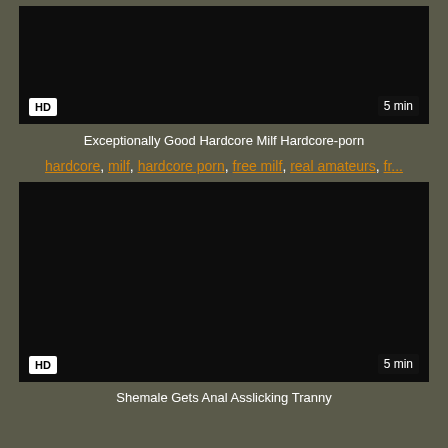[Figure (screenshot): Dark video thumbnail with HD badge bottom-left and '5 min' badge bottom-right]
Exceptionally Good Hardcore Milf Hardcore-porn
hardcore, milf, hardcore porn, free milf, real amateurs, fr...
[Figure (screenshot): Dark video thumbnail with HD badge bottom-left and '5 min' badge bottom-right]
Shemale Gets Anal Asslicking Tranny